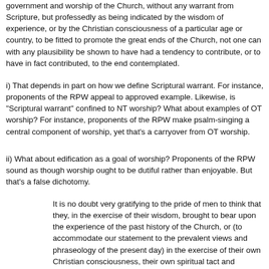government and worship of the Church, without any warrant from Scripture, but professedly as being indicated by the wisdom of experience, or by the Christian consciousness of a particular age or country, to be fitted to promote the great ends of the Church, not one can with any plausibility be shown to have had a tendency to contribute, or to have in fact contributed, to the end contemplated.
i) That depends in part on how we define Scriptural warrant. For instance, proponents of the RPW appeal to approved example. Likewise, is "Scriptural warrant" confined to NT worship? What about examples of OT worship? For instance, proponents of the RPW make psalm-singing a central component of worship, yet that's a carryover from OT worship.
ii) What about edification as a goal of worship? Proponents of the RPW sound as though worship ought to be dutiful rather than enjoyable. But that's a false dichotomy.
It is no doubt very gratifying to the pride of men to think that they, in the exercise of their wisdom, brought to bear upon the experience of the past history of the Church, or (to accommodate our statement to the prevalent views and phraseology of the present day) in the exercise of their own Christian consciousness, their own spiritual tact and discernment, can introduce improvements upon the nakedness and simplicity of the Church as it was left by the apostles. Perhaps the best mode of dealing with such persons, is to call upon them to exemplify their own general principle, by